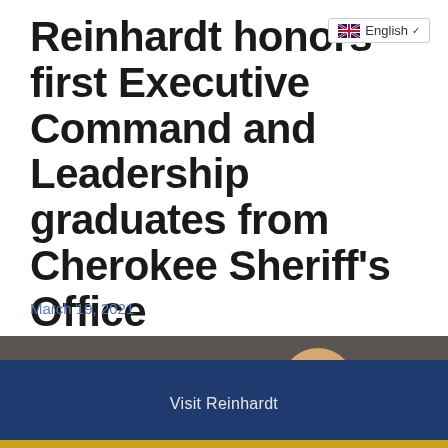Reinhardt honors first Executive Command and Leadership graduates from Cherokee Sheriff's Office
March 19, 2021
[Figure (photo): Group of people standing at what appears to be a formal ceremony or event, photographed indoors with a projection screen in the background.]
Visit Reinhardt